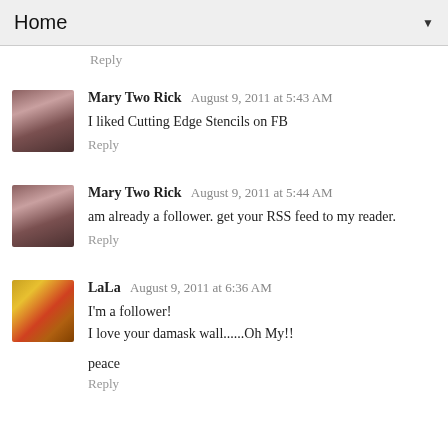Home
Reply
Mary Two Rick  August 9, 2011 at 5:43 AM
I liked Cutting Edge Stencils on FB
Reply
Mary Two Rick  August 9, 2011 at 5:44 AM
am already a follower. get your RSS feed to my reader.
Reply
LaLa  August 9, 2011 at 6:36 AM
I'm a follower!
I love your damask wall......Oh My!!

peace
Reply